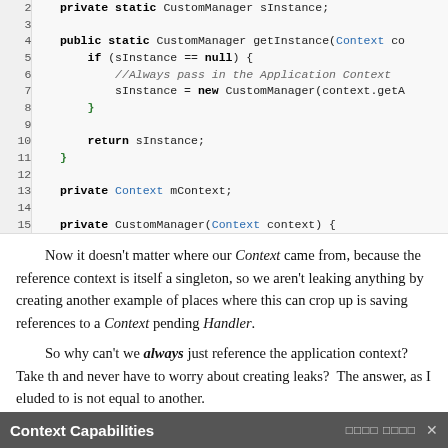[Figure (screenshot): Code block showing Java snippet with line numbers 2-15. Lines include: private static CustomManager sInstance; public static CustomManager getInstance(Context co... if (sInstance == null) { //Always pass in the Application Context... sInstance = new CustomManager(context.getA... } return sInstance; } private Context mContext; private CustomManager(Context context) {]
Now it doesn't matter where our Context came from, because the reference context is itself a singleton, so we aren't leaking anything by creating another example of places where this can crop up is saving references to a Context pending Handler.
So why can't we always just reference the application context? Take t... and never have to worry about creating leaks? The answer, as I eluded to i... not equal to another.
Context Capabilities